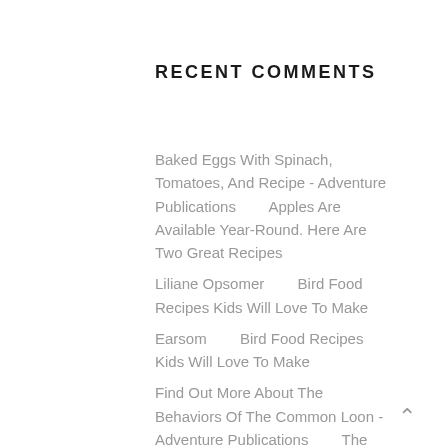RECENT COMMENTS
Baked Eggs With Spinach, Tomatoes, And Recipe - Adventure Publications       Apples Are Available Year-Round. Here Are Two Great Recipes
Liliane Opsomer       Bird Food Recipes Kids Will Love To Make
Earsom       Bird Food Recipes Kids Will Love To Make
Find Out More About The Behaviors Of The Common Loon - Adventure Publications       The Nesting Behaviors Of Sandhill Cranes